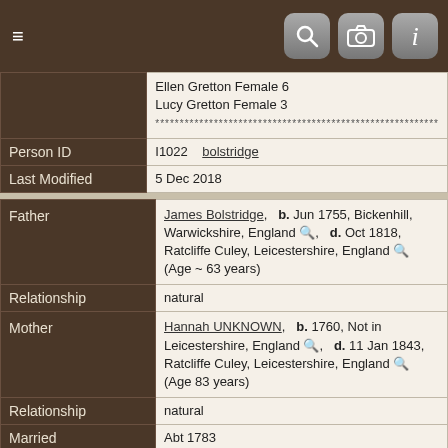Navigation bar with hamburger menu and search/camera/info icons
|  | Ellen Gretton Female 6
Lucy Gretton Female 3
********************************************************** |
| Person ID | I1022   bolstridge |
| Last Modified | 5 Dec 2018 |
| Father | James Bolstridge,  b. Jun 1755, Bickenhill, Warwickshire, England,  d. Oct 1818, Ratcliffe Culey, Leicestershire, England  (Age ~ 63 years) |
| Relationship | natural |
| Mother | Hannah UNKNOWN,  b. 1760, Not in Leicestershire, England,  d. 11 Jan 1843, Ratcliffe Culey, Leicestershire, England  (Age 83 years) |
| Relationship | natural |
| Married | Abt 1783 |
| Family ID | F2099   Group Sheet | Family Chart |